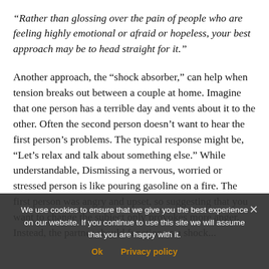“Rather than glossing over the pain of people who are feeling highly emotional or afraid or hopeless, your best approach may be to head straight for it.”
Another approach, the “shock absorber,” can help when tension breaks out between a couple at home. Imagine that one person has a terrible day and vents about it to the other. Often the second person doesn’t want to hear the first person’s problems. The typical response might be, “Let’s relax and talk about something else.” While understandable, Dismissing a nervous, worried or stressed person is like pouring gasoline on a fire. The first person was angry and upset, so suggesting that you want to change the subject only provokes more anger. Instead, the partner should function as a shock...
We use cookies to ensure that we give you the best experience on our website. If you continue to use this site we will assume that you are happy with it.